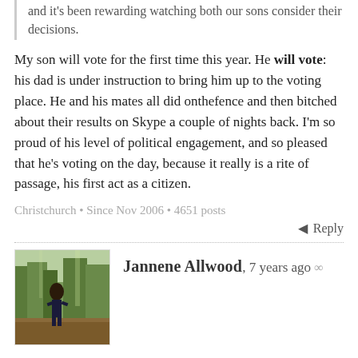and it's been rewarding watching both our sons consider their decisions.
My son will vote for the first time this year. He will vote: his dad is under instruction to bring him up to the voting place. He and his mates all did onthefence and then bitched about their results on Skype a couple of nights back. I'm so proud of his level of political engagement, and so pleased that he's voting on the day, because it really is a rite of passage, his first act as a citizen.
Christchurch • Since Nov 2006 • 4651 posts
Reply
Jannene Allwood, 7 years ago ∞
[Figure (photo): Avatar photo of Jannene Allwood showing a person in a woodland/forest setting]
Our family will be heading down to the voting booth together too. The kids are too young, but are interested already. Long may that last. No early voting for us as we enjoy the fun of voting on the day. Also, with the level of cray cray in this campaign, I want to wait right until the end.